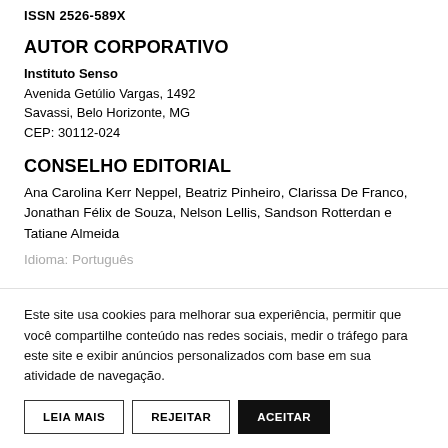ISSN 2526-589X
AUTOR CORPORATIVO
Instituto Senso
Avenida Getúlio Vargas, 1492
Savassi, Belo Horizonte, MG
CEP: 30112-024
CONSELHO EDITORIAL
Ana Carolina Kerr Neppel, Beatriz Pinheiro, Clarissa De Franco, Jonathan Félix de Souza, Nelson Lellis, Sandson Rotterdan e Tatiane Almeida
Idioma: Português
Este site usa cookies para melhorar sua experiência, permitir que você compartilhe conteúdo nas redes sociais, medir o tráfego para este site e exibir anúncios personalizados com base em sua atividade de navegação.
LEIA MAIS
REJEITAR
ACEITAR